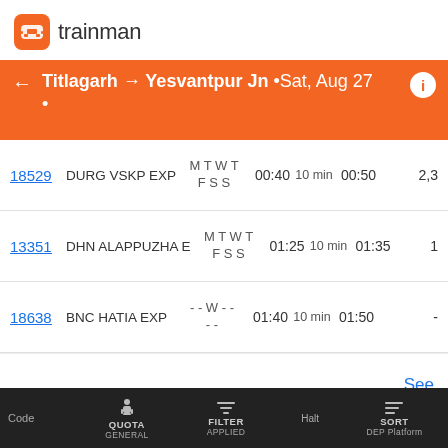[Figure (logo): Trainman app logo with orange icon and 'trainman' text]
Titlagarh → Yesvantpur Jn • Sat, Aug 27 •
| Code | Run | Arrival | Halt | Dep | Platform |
| --- | --- | --- | --- | --- | --- |
| 18529 | DURG VSKP EXP | M T W T F S S | 00:40 | 10 min | 00:50 | 2,3 |
| 13351 | DHN ALAPPUZHA E | M T W T F S S | 01:25 | 10 min | 01:35 | 1 |
| 18638 | BNC HATIA EXP | - - W - - - - | 01:40 | 10 min | 01:50 | - |
Yesvantpur Jn Station Details
See more...
Code  QUOTA GENERAL  FILTER APPLIED  SORT DEP Platform